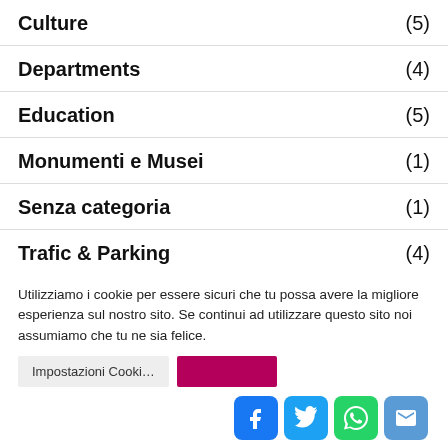Culture (5)
Departments (4)
Education (5)
Monumenti e Musei (1)
Senza categoria (1)
Trafic & Parking (4)
Utilizziamo i cookie per essere sicuri che tu possa avere la migliore esperienza sul nostro sito. Se continui ad utilizzare questo sito noi assumiamo che tu ne sia felice.
Impostazioni Cookie | Accetto